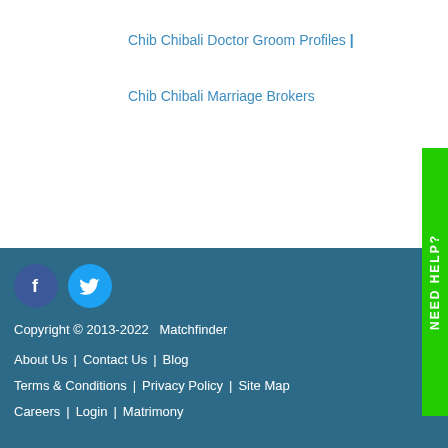Chib Chibali Doctor Groom Profiles |
Chib Chibali Marriage Brokers
[Figure (logo): Facebook circle icon (dark blue) and Twitter circle icon (light blue)]
Copyright © 2013-2022   Matchfinder
About Us  |  Contact Us  |  Blog
Terms & Conditions  |  Privacy Policy  |  Site Map
Careers  |  Login  |  Matrimony